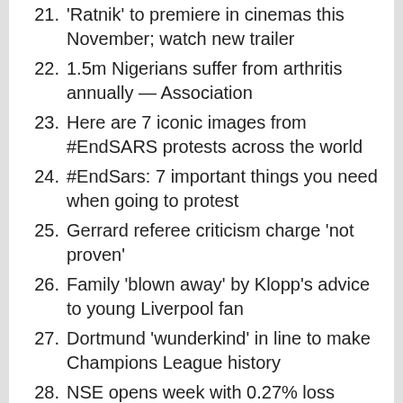21. 'Ratnik' to premiere in cinemas this November; watch new trailer
22. 1.5m Nigerians suffer from arthritis annually — Association
23. Here are 7 iconic images from #EndSARS protests across the world
24. #EndSars: 7 important things you need when going to protest
25. Gerrard referee criticism charge 'not proven'
26. Family 'blown away' by Klopp's advice to young Liverpool fan
27. Dortmund 'wunderkind' in line to make Champions League history
28. NSE opens week with 0.27% loss
29. WTO job: Buhari meets Ngozi Okonjo-Iweala at Aso Villa
30. Lai Mohammed explains why Nigeria's fashion industry is underrated
31. Court sentences former university lecturer for sexually molesting a female student